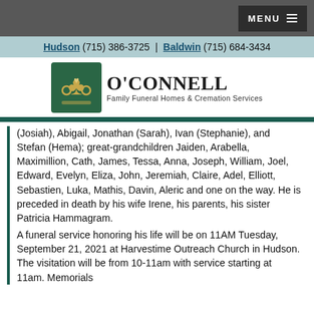MENU
Hudson (715) 386-3725 | Baldwin (715) 684-3434
[Figure (logo): O'Connell Family Funeral Homes & Cremation Services logo with claddagh emblem]
(Josiah), Abigail, Jonathan (Sarah), Ivan (Stephanie), and Stefan (Hema); great-grandchildren Jaiden, Arabella, Maximillion, Cath, James, Tessa, Anna, Joseph, William, Joel, Edward, Evelyn, Eliza, John, Jeremiah, Claire, Adel, Elliott, Sebastien, Luka, Mathis, Davin, Aleric and one on the way. He is preceded in death by his wife Irene, his parents, his sister Patricia Hammagram.
A funeral service honoring his life will be on 11AM Tuesday, September 21, 2021 at Harvestime Outreach Church in Hudson. The visitation will be from 10-11am with service starting at 11am. Memorials